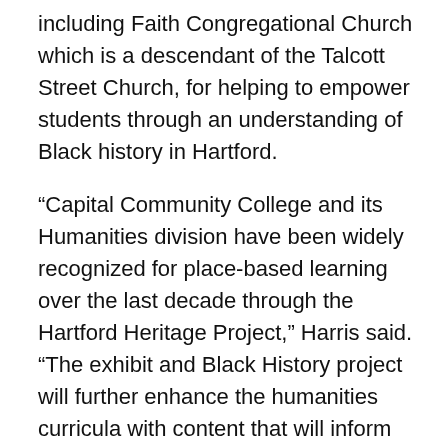including Faith Congregational Church which is a descendant of the Talcott Street Church, for helping to empower students through an understanding of Black history in Hartford.
“Capital Community College and its Humanities division have been widely recognized for place-based learning over the last decade through the Hartford Heritage Project,” Harris said. “The exhibit and Black History project will further enhance the humanities curricula with content that will inform and inspire our diverse student population.”
Hartford Heritage Project partners also expressed support for the new Black history initiative.
“Capital Community College’s Hartford Heritage Project leads in the effort to tell stories that don’t often get told, particularly of the histories around communities of color in